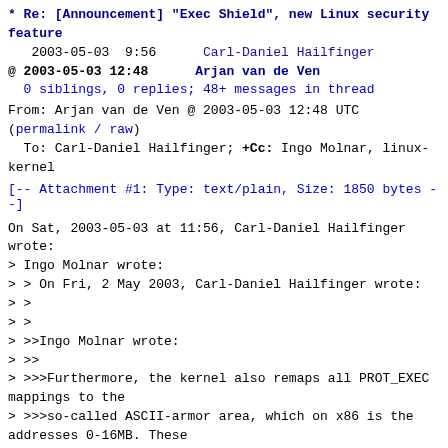* Re: [Announcement] "Exec Shield", new Linux security feature
  2003-05-03  9:56      Carl-Daniel Hailfinger
@ 2003-05-03 12:48      Arjan van de Ven
  0 siblings, 0 replies; 48+ messages in thread
From: Arjan van de Ven @ 2003-05-03 12:48 UTC
(permalink / raw)
  To: Carl-Daniel Hailfinger; +Cc: Ingo Molnar, linux-kernel
[-- Attachment #1: Type: text/plain, Size: 1850 bytes --]
On Sat, 2003-05-03 at 11:56, Carl-Daniel Hailfinger wrote:
> Ingo Molnar wrote:
> > On Fri, 2 May 2003, Carl-Daniel Hailfinger wrote:
> >
> >
> >>Ingo Molnar wrote:
> >>
> >>>Furthermore, the kernel also remaps all PROT_EXEC mappings to the
> >>>so-called ASCII-armor area, which on x86 is the addresses 0-16MB. These
>
> What happens if the ASCII-armor area is full, i.e. sum(PROT_EXEC sizes)
>  >16MB for a given binary (Mozilla comes to mind)? Does loading fail or